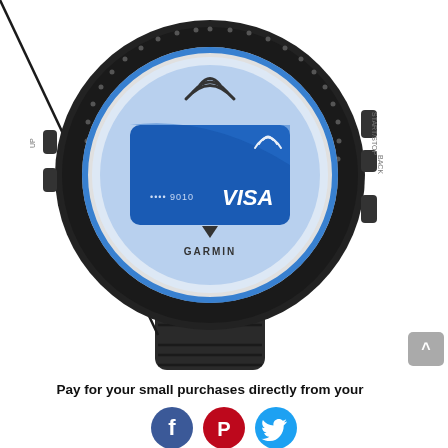[Figure (photo): A black Garmin smartwatch (Forerunner) displaying a Visa contactless payment card on its screen, with NFC/contactless payment symbol visible. The watch has a black rubber band and physical buttons on the side. The background is white.]
Pay for your small purchases directly from your
[Figure (illustration): Three social media share icons in a row: Facebook (blue circle with white f), Pinterest (red circle with white P), Twitter (light blue circle with white bird)]